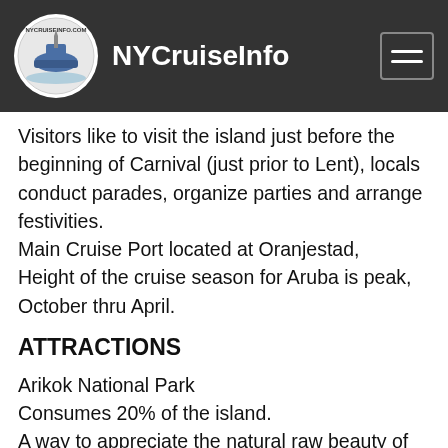NYCruiseInfo
Visitors like to visit the island just before the beginning of Carnival (just prior to Lent), locals conduct parades, organize parties and arrange festivities.
Main Cruise Port located at Oranjestad,
Height of the cruise season for Aruba is peak, October thru April.
ATTRACTIONS
Arikok National Park
Consumes 20% of the island.
A way to appreciate the natural raw beauty of the island - Hills, Cacti, desert and ocean.
20 miles of trails to explore - Most recommended is the Miralamar trail (literally translated as the "Sea